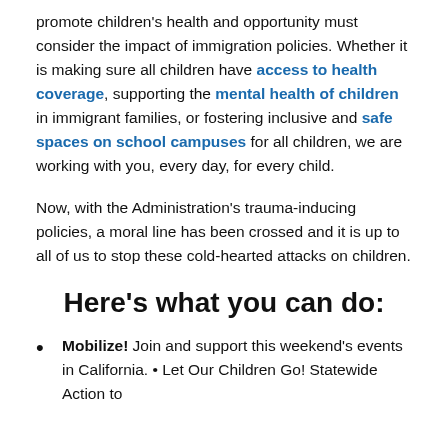promote children's health and opportunity must consider the impact of immigration policies. Whether it is making sure all children have access to health coverage, supporting the mental health of children in immigrant families, or fostering inclusive and safe spaces on school campuses for all children, we are working with you, every day, for every child.
Now, with the Administration's trauma-inducing policies, a moral line has been crossed and it is up to all of us to stop these cold-hearted attacks on children.
Here's what you can do:
Mobilize! Join and support this weekend's events in California. • Let Our Children Go! Statewide Action to